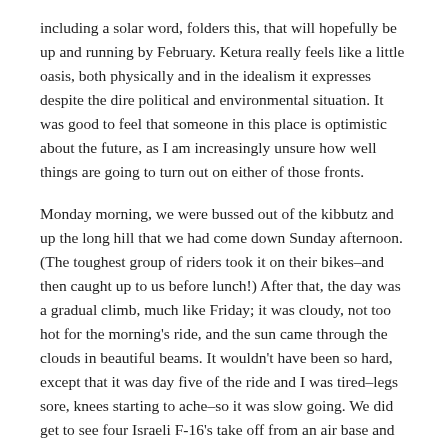including a solar word, folders this, that will hopefully be up and running by February. Ketura really feels like a little oasis, both physically and in the idealism it expresses despite the dire political and environmental situation. It was good to feel that someone in this place is optimistic about the future, as I am increasingly unsure how well things are going to turn out on either of those fronts.
Monday morning, we were bussed out of the kibbutz and up the long hill that we had come down Sunday afternoon. (The toughest group of riders took it on their bikes–and then caught up to us before lunch!) After that, the day was a gradual climb, much like Friday; it was cloudy, not too hot for the morning's ride, and the sun came through the clouds in beautiful beams. It wouldn't have been so hard, except that it was day five of the ride and I was tired–legs sore, knees starting to ache–so it was slow going. We did get to see four Israeli F-16's take off from an air base and fly overhead, though they didn't come as close as they had the day before, when two of them rocketed right over us–that was a nice distraction. Eventually, with the help of a lead rider who engaged me in conversation (about why women can't